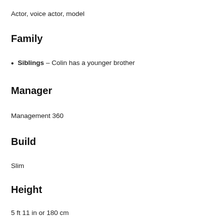Actor, voice actor, model
Family
Siblings – Colin has a younger brother
Manager
Management 360
Build
Slim
Height
5 ft 11 in or 180 cm